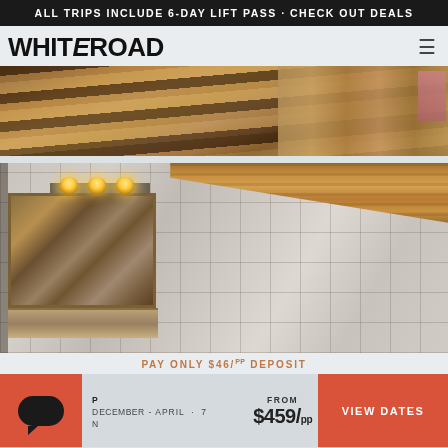ALL TRIPS INCLUDE 6-DAY LIFT PASS · CHECK OUT DEALS
WHITEROAD
[Figure (photo): Interior photo of wooden staircase with hardwood steps and wood-paneled storage drawers, warm brown tones]
[Figure (photo): Bathroom interior with large mirror framed in wood with warm lighting above, beige/cream tiles on walls, wooden vaulted ceiling]
PAY ONLY $46/pp DEPOSIT
FROM $459/pp
DECEMBER - APRIL · 7 NIGHTS
VIEW DATES